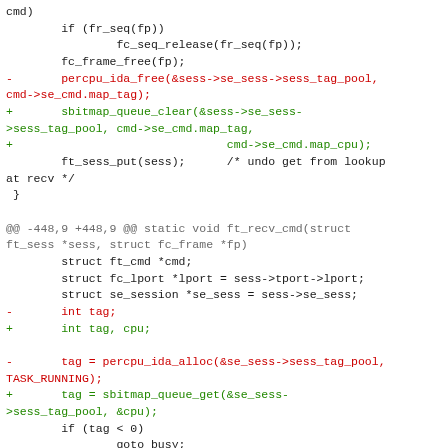cmd)
        if (fr_seq(fp))
                fc_seq_release(fr_seq(fp));
        fc_frame_free(fp);
-       percpu_ida_free(&sess->se_sess->sess_tag_pool, cmd->se_cmd.map_tag);
+       sbitmap_queue_clear(&sess->se_sess->sess_tag_pool, cmd->se_cmd.map_tag,
+                               cmd->se_cmd.map_cpu);
        ft_sess_put(sess);      /* undo get from lookup at recv */
 }

@@ -448,9 +448,9 @@ static void ft_recv_cmd(struct ft_sess *sess, struct fc_frame *fp)
        struct ft_cmd *cmd;
        struct fc_lport *lport = sess->tport->lport;
        struct se_session *se_sess = sess->se_sess;
-       int tag;
+       int tag, cpu;

-       tag = percpu_ida_alloc(&se_sess->sess_tag_pool, TASK_RUNNING);
+       tag = sbitmap_queue_get(&se_sess->sess_tag_pool, &cpu);
        if (tag < 0)
                goto busy;

@@ -458,10 +458,11 @@ static void ft_recv_cmd(struct ft_sess ft_sess *sess, struct fc_frame *fp)
        memset(cmd, 0, sizeof(struct ft_cmd));